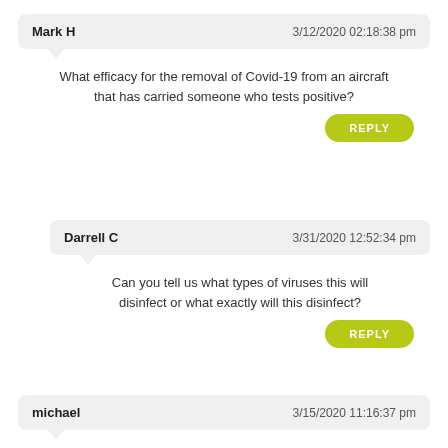Mark H — 3/12/2020 02:18:38 pm
What efficacy for the removal of Covid-19 from an aircraft that has carried someone who tests positive?
REPLY
Darrell C — 3/31/2020 12:52:34 pm
Can you tell us what types of viruses this will disinfect or what exactly will this disinfect?
REPLY
michael — 3/15/2020 11:16:37 pm